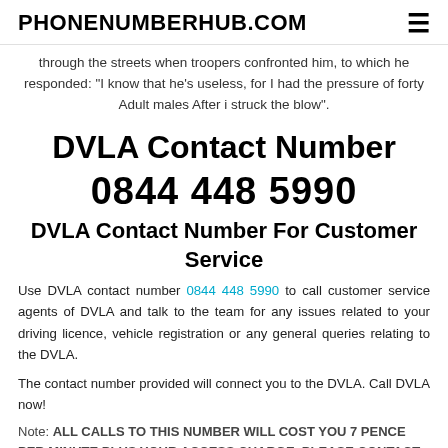PHONENUMBERHUB.COM
through the streets when troopers confronted him, to which he responded: "I know that he's useless, for I had the pressure of forty Adult males After i struck the blow".
DVLA Contact Number
0844 448 5990
DVLA Contact Number For Customer Service
Use DVLA contact number 0844 448 5990 to call customer service agents of DVLA and talk to the team for any issues related to your driving licence, vehicle registration or any general queries relating to the DVLA.
The contact number provided will connect you to the DVLA. Call DVLA now!
Note: ALL CALLS TO THIS NUMBER WILL COST YOU 7 PENCE PER MINUTE PLUS YOUR ACCESS CHARGE. PLEASE CONTACT HOC...